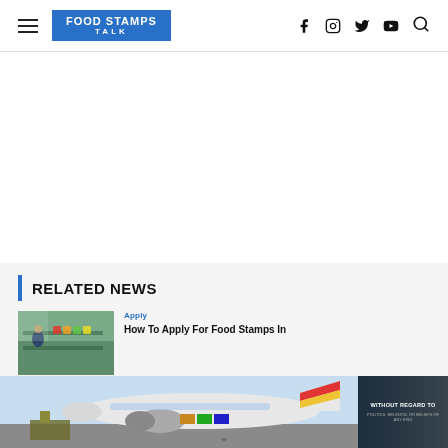Food Stamps Talk
[Figure (screenshot): White advertisement/empty space area]
RELATED NEWS
[Figure (photo): Grocery store produce section thumbnail]
Apply
How To Apply For Food Stamps In
[Figure (photo): Airplane being loaded with cargo on tarmac with colorful tail livery]
[Figure (infographic): Dark overlay banner reading WITHOUT REGARD TO POLITICS, RELIGION, OR BELIEFS OF ANY KIND]